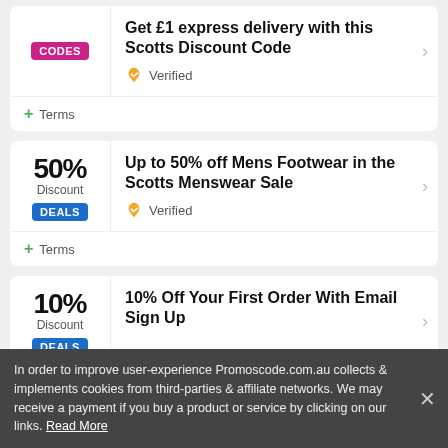Get £1 express delivery with this Scotts Discount Code
Verified
+ Terms
Up to 50% off Mens Footwear in the Scotts Menswear Sale
Verified
+ Terms
10% Off Your First Order With Email Sign Up
In order to improve user-experience Promoscode.com.au collects & implements cookies from third-parties & affiliate networks. We may receive a payment if you buy a product or service by clicking on our links. Read More